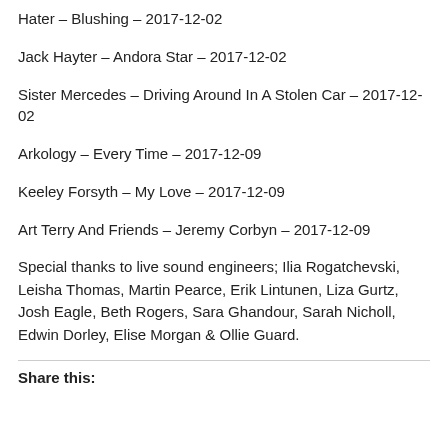Hater – Blushing – 2017-12-02
Jack Hayter – Andora Star – 2017-12-02
Sister Mercedes – Driving Around In A Stolen Car – 2017-12-02
Arkology – Every Time – 2017-12-09
Keeley Forsyth – My Love – 2017-12-09
Art Terry And Friends – Jeremy Corbyn – 2017-12-09
Special thanks to live sound engineers; Ilia Rogatchevski, Leisha Thomas, Martin Pearce, Erik Lintunen, Liza Gurtz, Josh Eagle, Beth Rogers, Sara Ghandour, Sarah Nicholl, Edwin Dorley, Elise Morgan & Ollie Guard.
Share this: